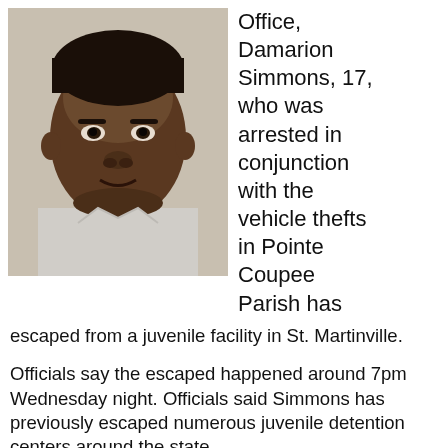[Figure (photo): Mugshot of a young Black male, approximately 17 years old, wearing a light gray shirt, neutral expression, photographed against a plain background.]
Office, Damarion Simmons, 17, who was arrested in conjunction with the vehicle thefts in Pointe Coupee Parish has escaped from a juvenile facility in St. Martinville.
Officials say the escaped happened around 7pm Wednesday night. Officials said Simmons has previously escaped numerous juvenile detention centers around the state.